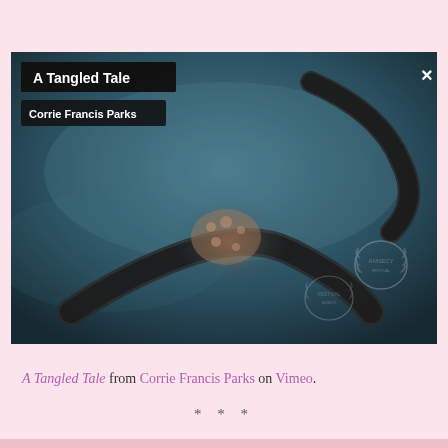[Figure (screenshot): Vimeo embedded video player showing 'A Tangled Tale' by Corrie Francis Parks. Dark teal underwater scene with octopus tentacles. Title overlay in dark box top-left, author name below it, X close button top-right.]
A Tangled Tale from Corrie Francis Parks on Vimeo.
* * *